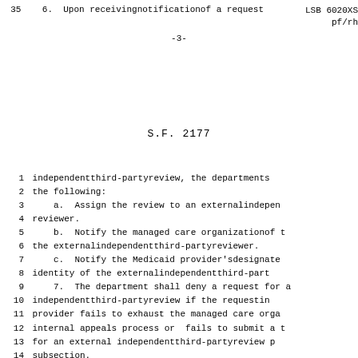35    6.  Upon receiving notification of a request
LSB 6020XS
pf/rh
-3-
S.F. 2177
1  independent third-party review, the department
2  the following:
3      a.  Assign the review to an external indepen
4  reviewer.
5      b.  Notify the managed care organization of t
6  the external independent third-party reviewer.
7      c.  Notify the Medicaid provider's designate
8  identity of the external independent third-part
9      7.  The department shall deny a request for a
10 independent third-party review if the requestin
11 provider fails to exhaust the managed care orga
12 internal appeals process or fails to submit a t
13 for an external independent third-party review p
14 subsection.
15     8.  a.  Multiple appeals through the extern